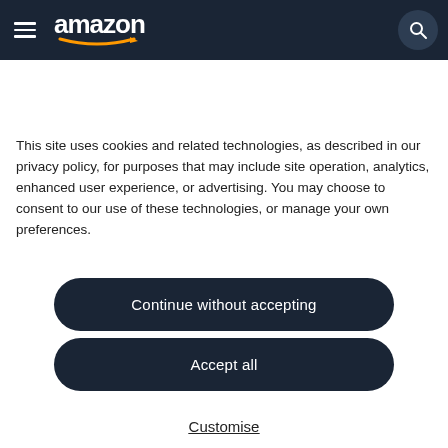amazon [logo with arrow] — navigation header with hamburger menu and search icon
COMMUNITY   COMMUN
This site uses cookies and related technologies, as described in our privacy policy, for purposes that may include site operation, analytics, enhanced user experience, or advertising. You may choose to consent to our use of these technologies, or manage your own preferences.
Continue without accepting
Accept all
Customise